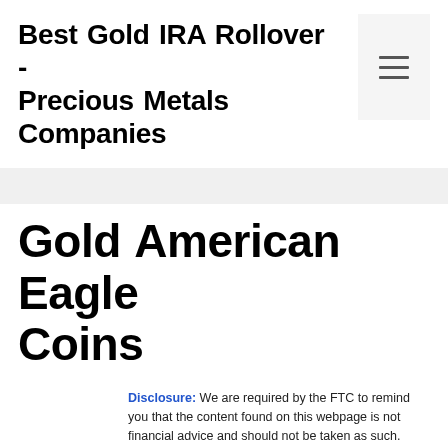Best Gold IRA Rollover - Precious Metals Companies
Gold American Eagle Coins
Disclosure: We are required by the FTC to remind you that the content found on this webpage is not financial advice and should not be taken as such. Always do your own research and consult a financial professional before making any investment decisions. The owners of this website may be compensated by Goldco and/or any other company to recommend them. The